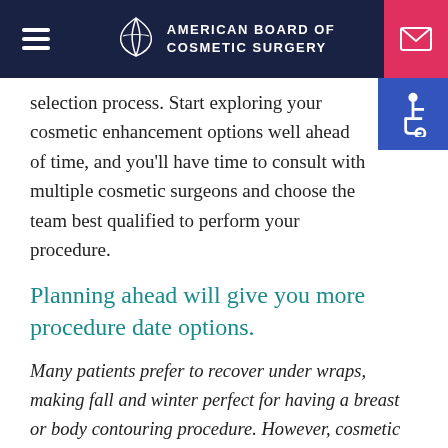AMERICAN BOARD OF COSMETIC SURGERY
selection process. Start exploring your cosmetic enhancement options well ahead of time, and you'll have time to consult with multiple cosmetic surgeons and choose the team best qualified to perform your procedure.
Planning ahead will give you more procedure date options.
Many patients prefer to recover under wraps, making fall and winter perfect for having a breast or body contouring procedure. However, cosmetic surgeons' schedules book up quickly around the holidays as people take advantage of extra days off for recovery, so plan well ahead if you want one of these coveted procedure dates. Better yet,